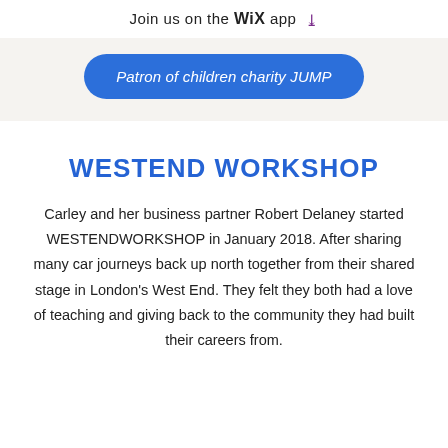Join us on the WiX app
Patron of children charity JUMP
WESTEND WORKSHOP
Carley and her business partner Robert Delaney started WESTENDWORKSHOP in January 2018. After sharing many car journeys back up north together from their shared stage in London's West End. They felt they both had a love of teaching and giving back to the community they had built their careers from.